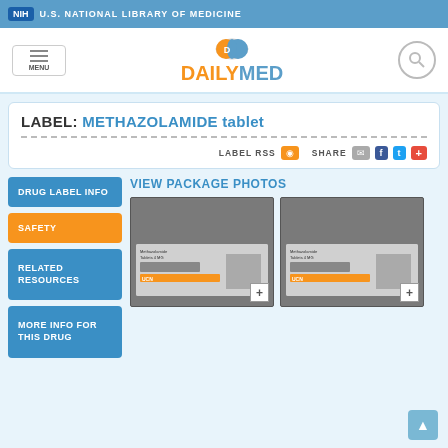NIH U.S. NATIONAL LIBRARY OF MEDICINE
[Figure (logo): DailyMed logo with pill icon, orange DAILY and blue MED text]
LABEL: METHAZOLAMIDE tablet
LABEL RSS  SHARE
VIEW PACKAGE PHOTOS
DRUG LABEL INFO
SAFETY
RELATED RESOURCES
MORE INFO FOR THIS DRUG
[Figure (photo): Package photo of Methazolamide tablet - first image]
[Figure (photo): Package photo of Methazolamide tablet - second image]